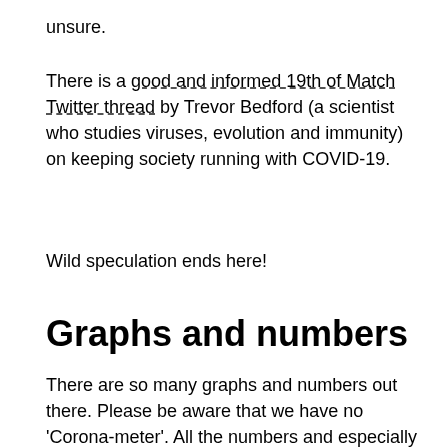unsure.
There is a good and informed 19th of Match Twitter thread by Trevor Bedford (a scientist who studies viruses, evolution and immunity) on keeping society running with COVID-19.
Wild speculation ends here!
Graphs and numbers
There are so many graphs and numbers out there. Please be aware that we have no ‘Corona-meter’. All the numbers and especially the graphs we see are the product of many policity decisions of whom and how many to test. Some tests may also be more sensitive than others. Almost no country reports reliable numbers on who is cured. We may ache for the certainty of hard